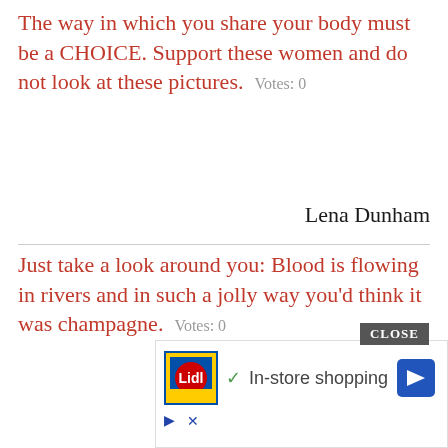The way in which you share your body must be a CHOICE. Support these women and do not look at these pictures.  Votes: 0
Lena Dunham
Just take a look around you: Blood is flowing in rivers and in such a jolly way you'd think it was champagne.  Votes: 0
Fyodor Dostoevsky
Important lessons: look carefully; record what you see. Find a way to make beauty necessary; find a way to make nece... beaut...
haels
[Figure (screenshot): Advertisement overlay with CLOSE button, Lidl logo, checkmark, In-store shopping text, and blue arrow button]